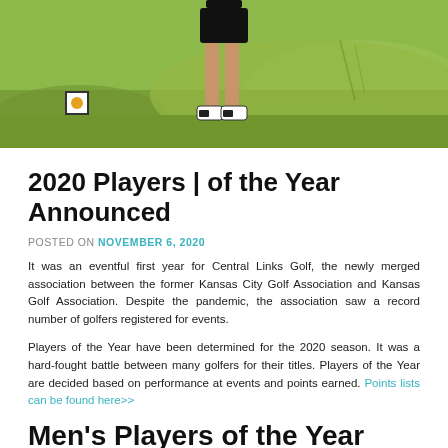[Figure (photo): Golf course photo showing a golfer (legs visible) standing on green grass, with a distance marker sign visible on the left side of the image.]
2020 Players | of the Year Announced
POSTED ON NOVEMBER 6, 2020
It was an eventful first year for Central Links Golf, the newly merged association between the former Kansas City Golf Association and Kansas Golf Association. Despite the pandemic, the association saw a record number of golfers registered for events.
Players of the Year have been determined for the 2020 season. It was a hard-fought battle between many golfers for their titles. Players of the Year are decided based on performance at events and points earned. Points lists can be found here>>
Men's Players of the Year